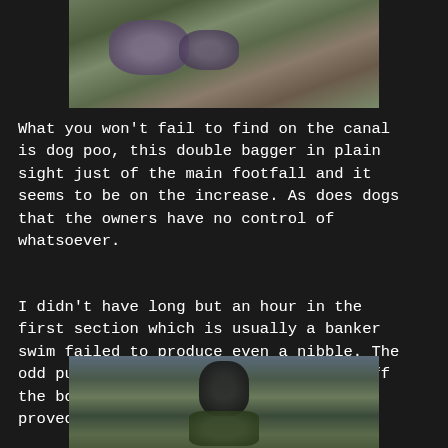[Figure (photo): Photograph of dog excrement on grass/mud near a canal path, visible from above]
What you won't fail to find on the canal is dog poo, this double bagger in plain sight just of the main footfall and it seems to be on the increase. As does dogs that the owners have no control of whatsoever.
I didn't have long but an hour in the first section which is usually a banker swim failed to produce even a nibble. The odd pull of the bait to lift it from off the bottom to try and induce a take, proved fruitless.
[Figure (photo): Photograph of a person wearing a dark beanie hat and jacket, standing outdoors near trees and bushes]